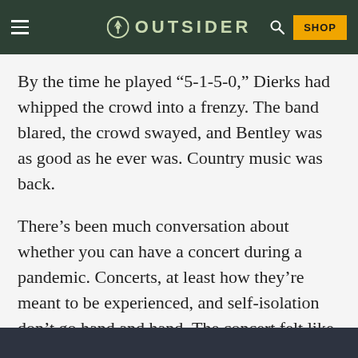OUTSIDER
By the time he played “5-1-5-0,” Dierks had whipped the crowd into a frenzy. The band blared, the crowd swayed, and Bentley was as good as he ever was. Country music was back.
There’s been much conversation about whether you can have a concert during a pandemic. Concerts, at least how they’re meant to be experienced, and self-isolation don’t go hand and hand. The concert felt like a return to normal for me. And for a couple of